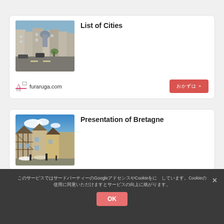[Figure (photo): Photo of a French city street with old buildings and a church dome, likely a city in France]
List of Cities
furaruga.com
[Figure (photo): Photo of Bretagne, France with half-timbered buildings and blue sky]
Presentation of Bretagne
furaruga.com
このサービスではサードパーティーのGoogleアドセンスやCookieを使用しています。Cookieの使用に同意いただけますとサービスの向上に繋がります。